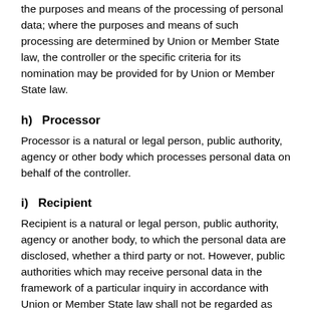the purposes and means of the processing of personal data; where the purposes and means of such processing are determined by Union or Member State law, the controller or the specific criteria for its nomination may be provided for by Union or Member State law.
h)    Processor
Processor is a natural or legal person, public authority, agency or other body which processes personal data on behalf of the controller.
i)    Recipient
Recipient is a natural or legal person, public authority, agency or another body, to which the personal data are disclosed, whether a third party or not. However, public authorities which may receive personal data in the framework of a particular inquiry in accordance with Union or Member State law shall not be regarded as